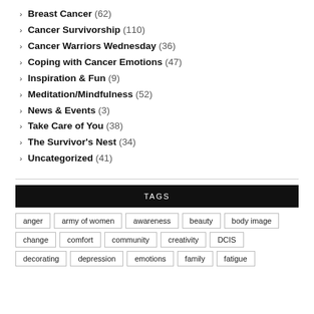Breast Cancer (62)
Cancer Survivorship (110)
Cancer Warriors Wednesday (36)
Coping with Cancer Emotions (47)
Inspiration & Fun (9)
Meditation/Mindfulness (52)
News & Events (3)
Take Care of You (38)
The Survivor's Nest (34)
Uncategorized (41)
TAGS
anger  army of women  awareness  beauty  body image  change  comfort  community  creativity  DCIS  decorating  depression  emotions  family  fatigue